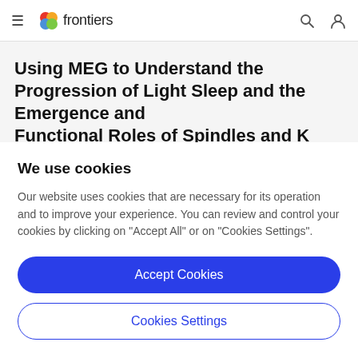frontiers
Using MEG to Understand the Progression of Light Sleep and the Emergence and Functional Roles of Spindles and K
We use cookies
Our website uses cookies that are necessary for its operation and to improve your experience. You can review and control your cookies by clicking on "Accept All" or on "Cookies Settings".
Accept Cookies
Cookies Settings